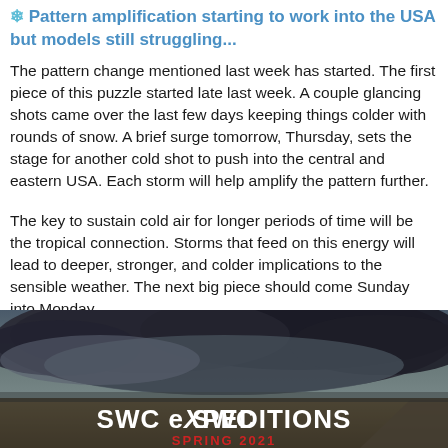❄ Pattern amplification starting to work into the USA but models still struggling...
The pattern change mentioned last week has started. The first piece of this puzzle started late last week. A couple glancing shots came over the last few days keeping things colder with rounds of snow. A brief surge tomorrow, Thursday, sets the stage for another cold shot to push into the central and eastern USA. Each storm will help amplify the pattern further.
The key to sustain cold air for longer periods of time will be the tropical connection. Storms that feed on this energy will lead to deeper, stronger, and colder implications to the sensible weather. The next big piece should come Sunday into Monday.
[Figure (photo): Storm chasing photo showing dark storm clouds over flat farmland with the text 'SWC EXPEDITIONS SPRING 2021' overlaid at the bottom.]